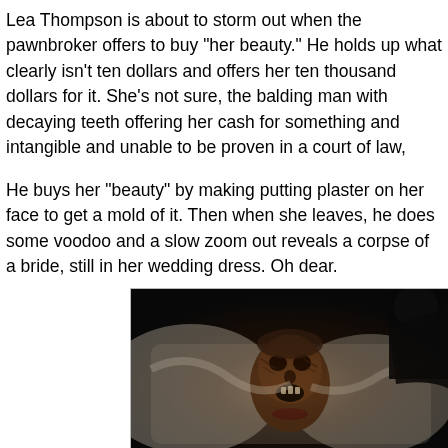Lea Thompson is about to storm out when the pawnbroker offers to buy "her beauty." He holds up what clearly isn't ten dollars and offers her ten thousand dollars for it. She's not sure, the balding man with decaying teeth offering her cash for something and intangible and unable to be proven in a court of law, s...
He buys her "beauty" by making putting plaster on her face to get a mold of it. Then when she leaves, he does some voodoo and a slow zoom out reveals a corpse of a bride, still in her wedding dress. Oh dear.
[Figure (photo): A dark, horror-themed image showing a mummified or decayed corpse of a bride lying in what appears to be a coffin lined with white fabric. A dark figure looms in the upper right corner. The scene is lit with warm, dim lighting creating an eerie atmosphere.]